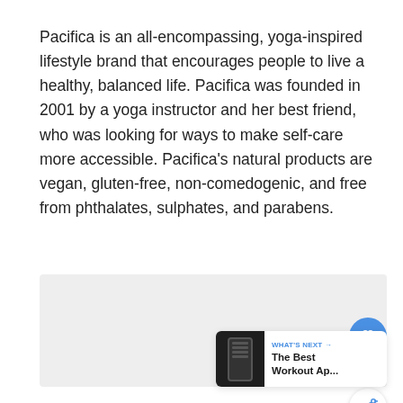Pacifica is an all-encompassing, yoga-inspired lifestyle brand that encourages people to live a healthy, balanced life. Pacifica was founded in 2001 by a yoga instructor and her best friend, who was looking for ways to make self-care more accessible. Pacifica's natural products are vegan, gluten-free, non-comedogenic, and free from phthalates, sulphates, and parabens.
[Figure (screenshot): Gray placeholder content area with UI elements: a blue heart/like button, a share button, a count of 1, and a 'What's Next' card showing 'The Best Workout Ap...' with a dark phone thumbnail.]